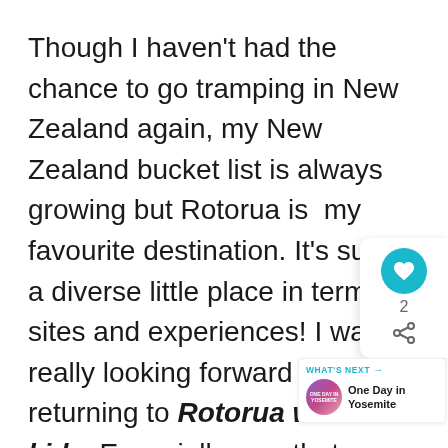Though I haven't had the chance to go tramping in New Zealand again, my New Zealand bucket list is always growing but Rotorua is  my favourite destination. It's such a diverse little place in terms of sites and experiences! I was really looking forward to returning to Rotorua with kids. Especially now that our 3.5 year old remembers everything. There is something to enjoy for everyone in the family. From the geotherm wonderlands, to many adventure activities and cultural experiences, it is alwa packed few days.
[Figure (other): Floating UI panel with heart/like button showing count 2 and share icon, plus a 'What's Next' widget showing 'One Day in Yosemite' with circular thumbnail]